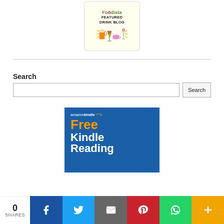[Figure (logo): Foodista Featured Drink Blog badge with drink icons (beer, wine, coffee, martini)]
Search
[Figure (screenshot): Search input box with Search button]
[Figure (illustration): Amazon Kindle Free Kindle Reading advertisement banner]
0 SHARES
[Figure (infographic): Social share bar with Facebook, Twitter, Email, Pinterest, WhatsApp, and More buttons]